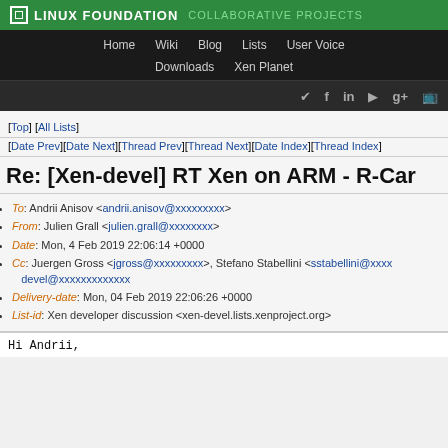LINUX FOUNDATION COLLABORATIVE PROJECTS | Home | Wiki | Blog | Lists | User Voice | Downloads | Xen Planet
[Top] [All Lists]
[Date Prev][Date Next][Thread Prev][Thread Next][Date Index][Thread Index]
Re: [Xen-devel] RT Xen on ARM - R-Car
To: Andrii Anisov <andrii.anisov@xxxxxxxxx>
From: Julien Grall <julien.grall@xxxxxxxx>
Date: Mon, 4 Feb 2019 22:06:14 +0000
Cc: Juergen Gross <jgross@xxxxxxxxx>, Stefano Stabellini <sstabellini@xxxx devel@xxxxxxxxxxxxx
Delivery-date: Mon, 04 Feb 2019 22:06:26 +0000
List-id: Xen developer discussion <xen-devel.lists.xenproject.org>
Hi Andrii,